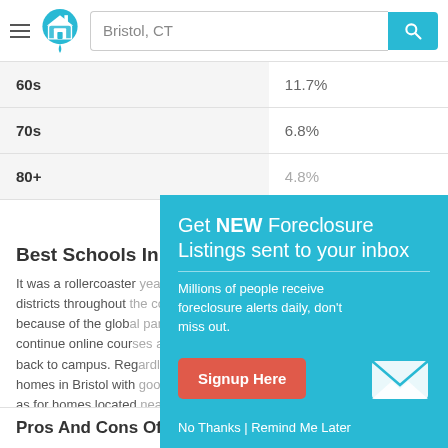[Figure (screenshot): Navigation bar with hamburger menu, home pin logo, Bristol CT search box, and teal search button]
| Age Group | Percentage |
| --- | --- |
| 60s | 11.7% |
| 70s | 6.8% |
| 80+ | 4.8% |
Best Schools In B...
It was a rollercoaster... districts throughout ... because of the glob... continue online cour... back to campus. Reg... homes in Bristol with... as for homes located... person instruction in Bristol.
Pros And Cons Of Living In Bristol, Connecticut
[Figure (screenshot): Popup overlay: Get NEW Foreclosure Listings sent to your inbox. Millions of people receive foreclosure alerts daily, don't miss out. Signup Here button. No Thanks | Remind Me Later links. Envelope icon.]